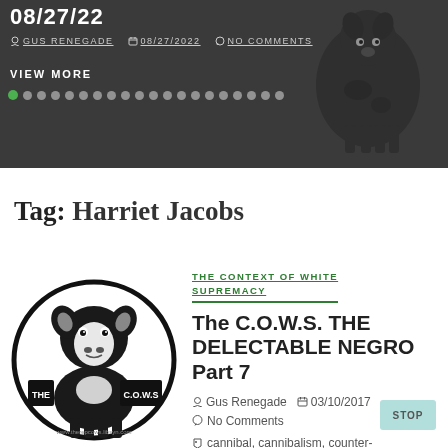08/27/22
GUS RENEGADE  08/27/2022  NO COMMENTS
VIEW MORE
Tag: Harriet Jacobs
[Figure (logo): The C.O.W.S. logo — black and white illustration of a cow inside an oval with text 'THE C.O.W.S']
THE CONTEXT OF WHITE SUPREMACY
The C.O.W.S. THE DELECTABLE NEGRO Part 7
Gus Renegade  03/10/2017
No Comments
cannibal, cannibalism, counter-